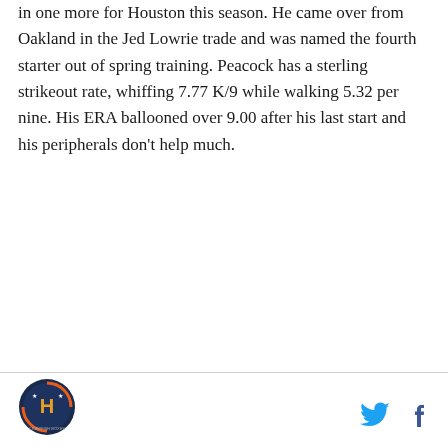in one more for Houston this season. He came over from Oakland in the Jed Lowrie trade and was named the fourth starter out of spring training. Peacock has a sterling strikeout rate, whiffing 7.77 K/9 while walking 5.32 per nine. His ERA ballooned over 9.00 after his last start and his peripherals don't help much.
[Figure (logo): Fansided/Houston Astros circular logo badge with H logo and orange/blue colors]